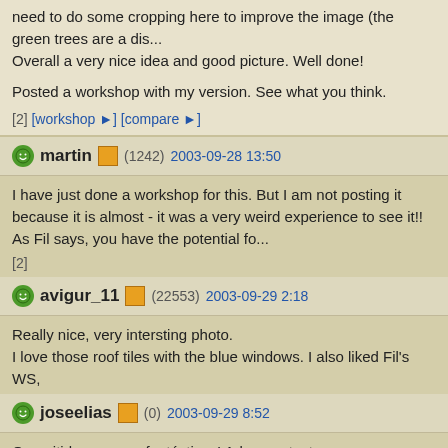need to do some cropping here to improve the image (the green trees are a dis... Overall a very nice idea and good picture. Well done!
Posted a workshop with my version. See what you think.
[2] [workshop ▶] [compare ▶]
martin (1242) 2003-09-28 13:50
I have just done a workshop for this. But I am not posting it because it is almost - it was a very weird experience to see it!! As Fil says, you have the potential fo...
[2]
avigur_11 (22553) 2003-09-29 2:18
Really nice, very intersting photo.
I love those roof tiles with the blue windows. I also liked Fil's WS,
joseelias (0) 2003-09-29 8:52
Que nitidez e cores fantásticas! Adoro as texturas e envelhecimento dos telhad... e fachada muito bem cuidadas.
Penso apenas que se poderia eliminar um pouco do topo para não se ver as pl...